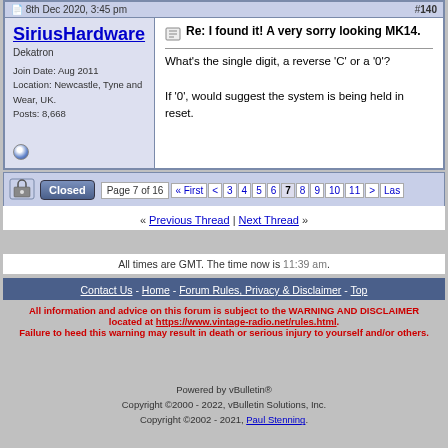8th Dec 2020, 3:45 pm  #140
SiriusHardware
Dekatron
Join Date: Aug 2011
Location: Newcastle, Tyne and Wear, UK.
Posts: 8,668
Re: I found it! A very sorry looking MK14.

What's the single digit, a reverse 'C' or a '0'?

If '0', would suggest the system is being held in reset.
Page 7 of 16  « First  <  3  4  5  6  7  8  9  10  11  >  Last
« Previous Thread | Next Thread »
All times are GMT. The time now is 11:39 am.
Contact Us - Home - Forum Rules, Privacy & Disclaimer - Top
All information and advice on this forum is subject to the WARNING AND DISCLAIMER located at https://www.vintage-radio.net/rules.html. Failure to heed this warning may result in death or serious injury to yourself and/or others.
Powered by vBulletin®
Copyright ©2000 - 2022, vBulletin Solutions, Inc.
Copyright ©2002 - 2021, Paul Stenning.